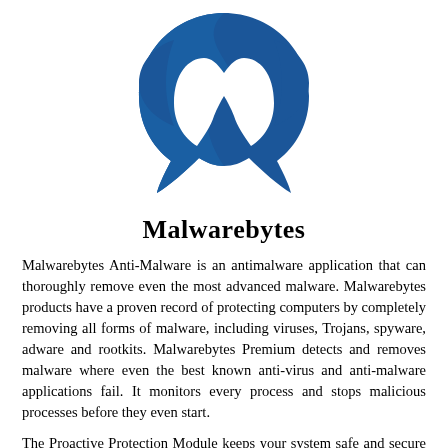[Figure (logo): Malwarebytes logo — blue stylized M/monster icon]
Malwarebytes
Malwarebytes Anti-Malware is an antimalware application that can thoroughly remove even the most advanced malware. Malwarebytes products have a proven record of protecting computers by completely removing all forms of malware, including viruses, Trojans, spyware, adware and rootkits. Malwarebytes Premium detects and removes malware where even the best known anti-virus and anti-malware applications fail. It monitors every process and stops malicious processes before they even start.
The Proactive Protection Module keeps your system safe and secure with advanced heuristic scanning technology